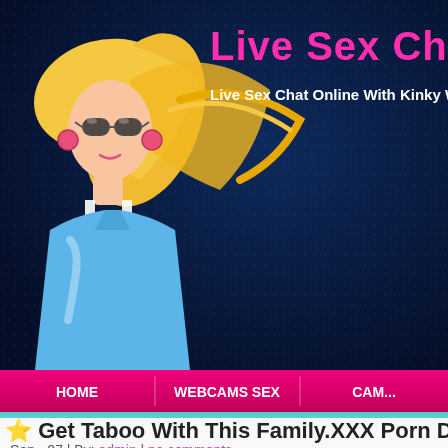[Figure (illustration): Website header banner with dark blue dotted background. Cartoon illustration of a blonde woman in a blue dress on the left side. Site title 'Live Sex Chat' in pink bold text, subtitle 'Live Sex Chat Online With Kinky W...' in white bold text.]
Live Sex Chat
Live Sex Chat Online With Kinky W
[Figure (screenshot): Navigation bar with pink/magenta background showing menu items: HOME, WEBCAMS SEX, CAM...]
Get Taboo With This Family.XXX Porn Disc...
Sep - 07 | By: admin | no comments.
Filed under : videos
[Figure (photo): Partial photo showing person with dark hair, beginning of article thumbnail image.]